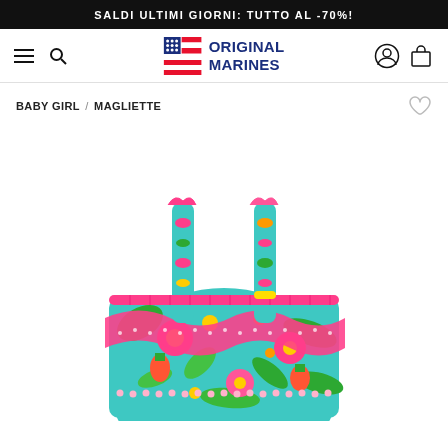SALDI ULTIMI GIORNI: TUTTO AL -70%!
[Figure (logo): Original Marines logo with American flag icon and brand name in dark blue]
BABY GIRL / MAGLIETTE
[Figure (photo): Colorful tropical print baby girl ruffled top/romper with floral and fruit pattern in pink, teal, green, and yellow colors, shown on white background]